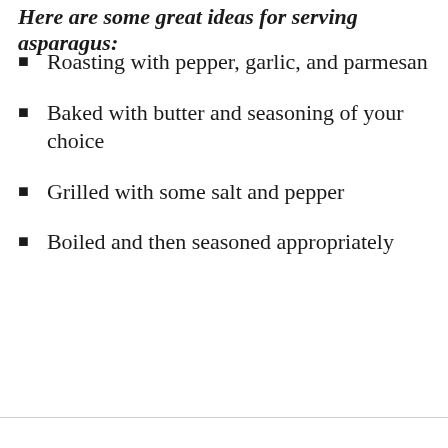Here are some great ideas for serving asparagus:
Roasting with pepper, garlic, and parmesan
Baked with butter and seasoning of your choice
Grilled with some salt and pepper
Boiled and then seasoned appropriately